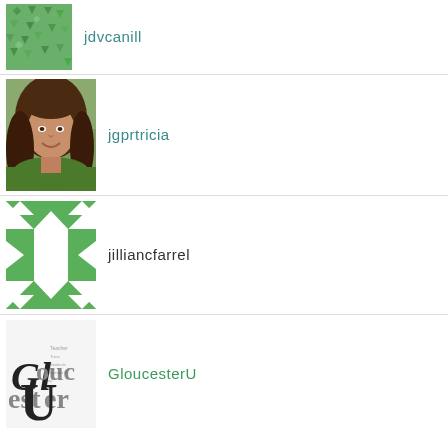[Figure (illustration): Green geometric abstract avatar for user jdvcanill]
jdvcanill
[Figure (photo): Portrait photo of a young woman with long brown hair wearing a green top — avatar for jgprtricia]
jgprtricia
[Figure (illustration): Green and white quilt/geometric pattern avatar for jilliancfarrel]
jilliancfarrel
[Figure (logo): GloucesterU logo with stylized text and word cloud map]
GloucesterU